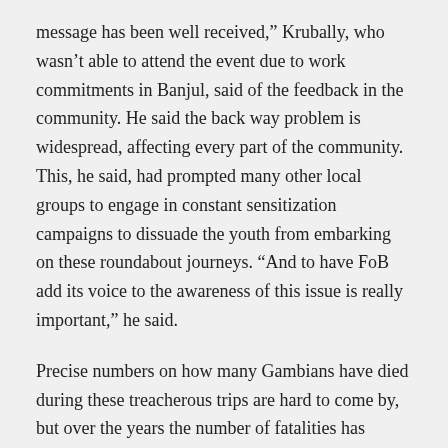message has been well received,” Krubally, who wasn’t able to attend the event due to work commitments in Banjul, said of the feedback in the community. He said the back way problem is widespread, affecting every part of the community. This, he said, had prompted many other local groups to engage in constant sensitization campaigns to dissuade the youth from embarking on these roundabout journeys. “And to have FoB add its voice to the awareness of this issue is really important,” he said.
Precise numbers on how many Gambians have died during these treacherous trips are hard to come by, but over the years the number of fatalities has continued to mount. In the Upper River Region alone, many families have had to merely mourn and not be accorded the chance to give fitting burials to their loved ones, who had either perished in boat wrecks in the high seas or died in depraved conditions in Libya and